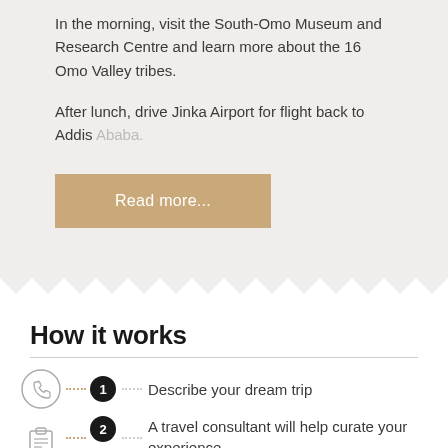In the morning, visit the South-Omo Museum and Research Centre and learn more about the 16 Omo Valley tribes.
After lunch, drive Jinka Airport for flight back to Addis Ababa.
Read more...
How it works
1 Describe your dream trip
2 A travel consultant will help curate your experience